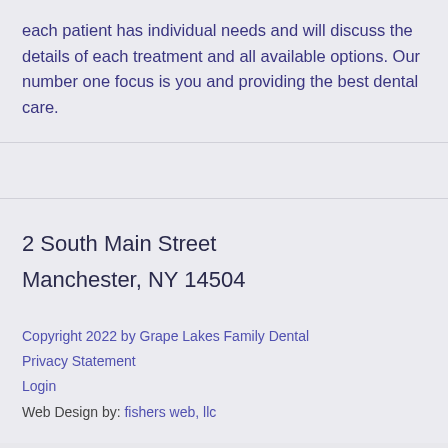each patient has individual needs and will discuss the details of each treatment and all available options. Our number one focus is you and providing the best dental care.
2 South Main Street
Manchester, NY 14504
Copyright 2022 by Grape Lakes Family Dental
Privacy Statement
Login
Web Design by: fishers web, llc